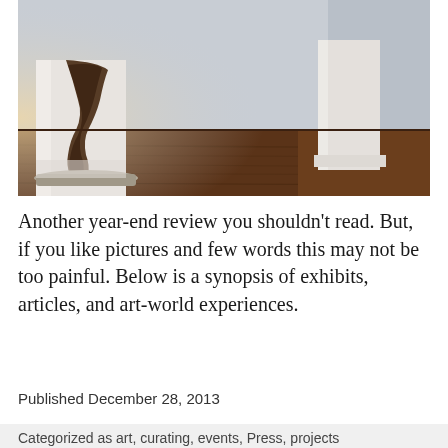[Figure (photo): Gallery interior with white wall columns on a dark wood floor. One column shows dark brown staining or burn marks spreading down from above, with gravel at its base. Another white pedestal visible in background. Soft, warm light from the left.]
Another year-end review you shouldn't read. But, if you like pictures and few words this may not be too painful. Below is a synopsis of exhibits, articles, and art-world experiences.
Published December 28, 2013
Categorized as art, curating, events, Press, projects